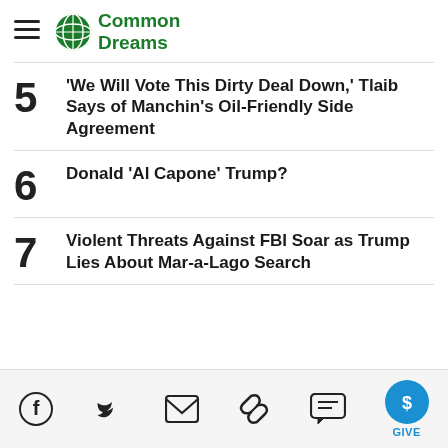Common Dreams
'We Will Vote This Dirty Deal Down,' Tlaib Says of Manchin's Oil-Friendly Side Agreement
Donald 'Al Capone' Trump?
Violent Threats Against FBI Soar as Trump Lies About Mar-a-Lago Search
Social share icons: Facebook, Twitter, Email, Link, Comment, Give